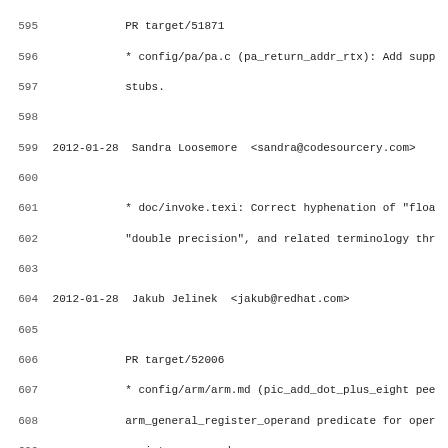595   PR target/51871
596         * config/pa/pa.c (pa_return_addr_rtx): Add supp
597         stubs.
598
599 2012-01-28  Sandra Loosemore  <sandra@codesourcery.com>
600
601         * doc/invoke.texi: Correct hyphenation of "floa
602         "double precision", and related terminology thr
603
604 2012-01-28  Jakub Jelinek  <jakub@redhat.com>
605
606         PR target/52006
607         * config/arm/arm.md (pic_add_dot_plus_eight pee
608         arm_general_register_operand predicate for oper
609         register_operand.
610
611 2012-01-27  Ian Lance Taylor  <iant@google.com>
612
613         PR go/47656
614         * builtins.def (BUILT_IN_INIT_HEAP_TRAMPOLINE):
615         * builtins.c (expand_builtin_init_trampoline):
616         parameter.  Change caller.
617         (expand_builtin): Handle BUILT_IN_INIT_HEAP_TRA
618         * tree.c (build_common_builtin_nodes): Declare
619         __builtin_init_heap_trampoline.
620
621 2012-01-27  Georg-Johann Lay  <avr@gjlay.de>
622
623         * config/avr/avr-protos.h (lpm_reg_rtx, lpm_add
624         tmp_reg_rtx, zero_reg_rtx, all_regs_rtx, rampz_
625         * config/avr/avr.c: Ditto.
626         (avr_regnames): Remove because unused.